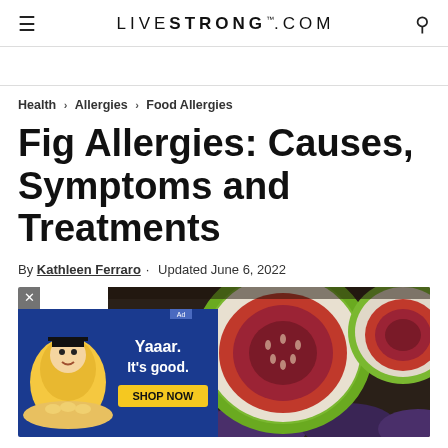LIVESTRONG.COM
Health > Allergies > Food Allergies
Fig Allergies: Causes, Symptoms and Treatments
By Kathleen Ferraro · Updated June 6, 2022
[Figure (photo): Sliced fresh figs showing vibrant red/purple interior flesh, with whole purple figs in background, alongside an advertisement overlay for Pirate's Booty snacks with text 'Yaaar. It's good.' and a yellow 'SHOP NOW' button]